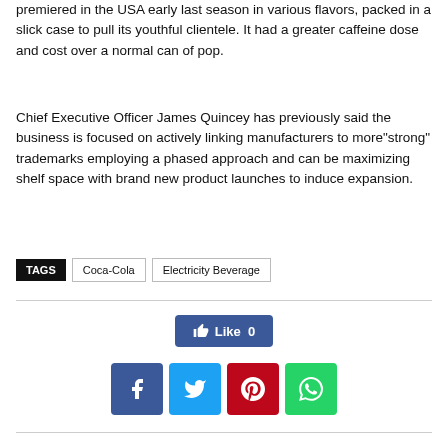premiered in the USA early last season in various flavors, packed in a slick case to pull its youthful clientele. It had a greater caffeine dose and cost over a normal can of pop.
Chief Executive Officer James Quincey has previously said the business is focused on actively linking manufacturers to more"strong" trademarks employing a phased approach and can be maximizing shelf space with brand new product launches to induce expansion.
TAGS  Coca-Cola  Electricity Beverage
[Figure (other): Facebook Like button showing Like 0]
[Figure (other): Social share buttons: Facebook, Twitter, Pinterest, WhatsApp]